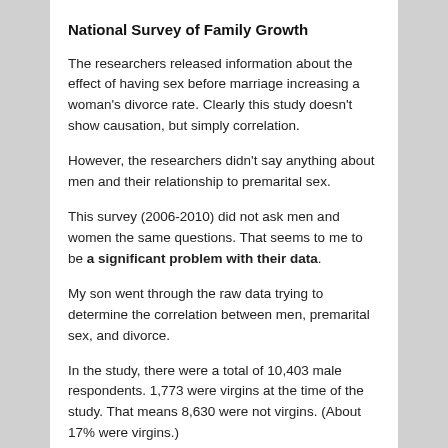National Survey of Family Growth
The researchers released information about the effect of having sex before marriage increasing a woman's divorce rate. Clearly this study doesn't show causation, but simply correlation.
However, the researchers didn't say anything about men and their relationship to premarital sex.
This survey (2006-2010) did not ask men and women the same questions. That seems to me to be a significant problem with their data.
My son went through the raw data trying to determine the correlation between men, premarital sex, and divorce.
In the study, there were a total of 10,403 male respondents. 1,773 were virgins at the time of the study. That means 8,630 were not virgins. (About 17% were virgins.)